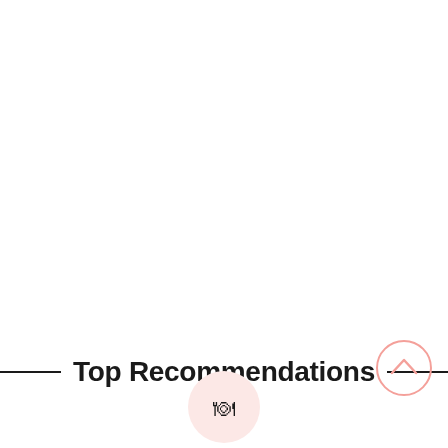Top Recommendations
[Figure (illustration): Pink circular icon with a fork and knife utensils symbol, positioned below the title text]
[Figure (illustration): Pink outlined circle with an upward-pointing chevron arrow, positioned at bottom right corner]